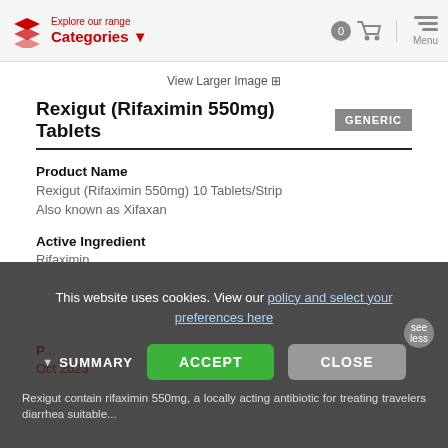Explore our range Categories | 0 [cart] Menu
View Larger Image
Rexigut (Rifaximin 550mg) Tablets GENERIC
Product Name
Rexigut (Rifaximin 550mg) 10 Tablets/Strip
Also known as Xifaxan
Active Ingredient
Rifaximin
Manufacturer
Leeford Healthcare Ltd.
Product Type
Antibiotic (rifamycin, gastrointestinal)
Oct 2023
This website uses cookies. View our policy and select your preferences here
SUMMARY (see less)
Rexigut contain rifaximin 550mg, a locally acting antibiotic for treating travelers diarrhea suitable...